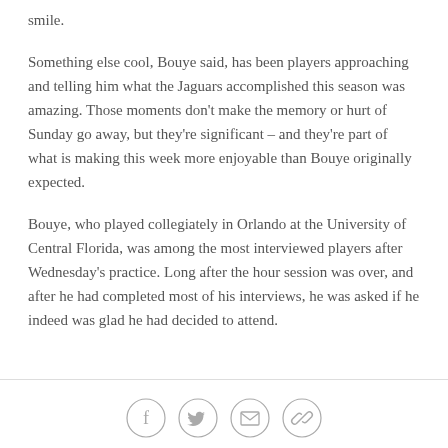smile.
Something else cool, Bouye said, has been players approaching and telling him what the Jaguars accomplished this season was amazing. Those moments don't make the memory or hurt of Sunday go away, but they're significant – and they're part of what is making this week more enjoyable than Bouye originally expected.
Bouye, who played collegiately in Orlando at the University of Central Florida, was among the most interviewed players after Wednesday's practice. Long after the hour session was over, and after he had completed most of his interviews, he was asked if he indeed was glad he had decided to attend.
[Figure (other): Social sharing icons: Facebook, Twitter, Email, Link/copy]